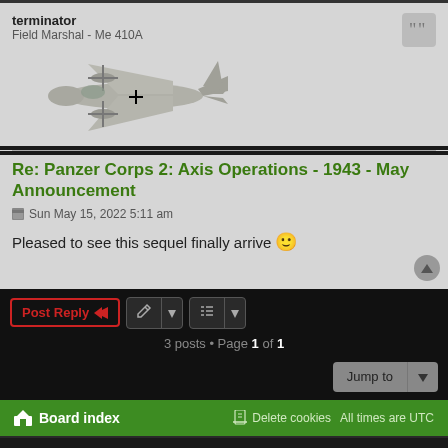terminator
Field Marshal - Me 410A
[Figure (photo): Side-view illustration of a WWII German Messerschmitt Me 410A aircraft in gray/silver color scheme with black cross markings]
Re: Panzer Corps 2: Axis Operations - 1943 - May Announcement
Sun May 15, 2022 5:11 am
Pleased to see this sequel finally arrive 😀
3 posts • Page 1 of 1
Board index   Delete cookies   All times are UTC
Powered by phpBB® Forum Software © phpBB Limited
Privacy | Terms